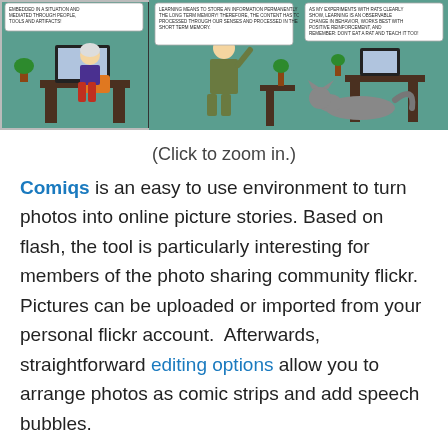[Figure (illustration): Comic strip with three panels showing a woman at a computer, a person speaking about learning and memory, and a cat lying on the floor near a desk with a speech bubble about learning.]
(Click to zoom in.)
Comiqs is an easy to use environment to turn photos into online picture stories. Based on flash, the tool is particularly interesting for members of the photo sharing community flickr. Pictures can be uploaded or imported from your personal flickr account.  Afterwards, straightforward editing options allow you to arrange photos as comic strips and add speech bubbles.
Share this: